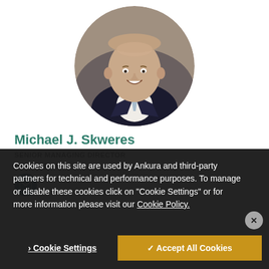[Figure (photo): Professional headshot of Michael J. Skweres, a man in a dark suit with a light blue tie, smiling, set in a circular frame against a gray gradient background.]
Michael J. Skweres
SENIOR MANAGING DIRECTOR
CHICAGO, IL
[Figure (other): Dark teal circular email icon]
Cookies on this site are used by Ankura and third-party partners for technical and performance purposes. To manage or disable these cookies click on "Cookie Settings" or for more information please visit our Cookie Policy.